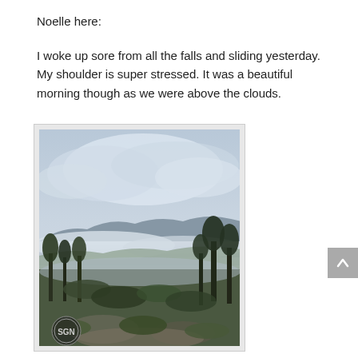Noelle here:
I woke up sore from all the falls and sliding yesterday. My shoulder is super stressed. It was a beautiful morning though as we were above the clouds.
[Figure (photo): Landscape photo showing a misty mountain scene with trees in the foreground, a cloud layer in the middle distance, and a grey sky above. A small SGN watermark logo appears in the bottom left corner of the photo.]
[Figure (other): Grey scroll-to-top button with an upward caret arrow, positioned at the right edge of the page.]